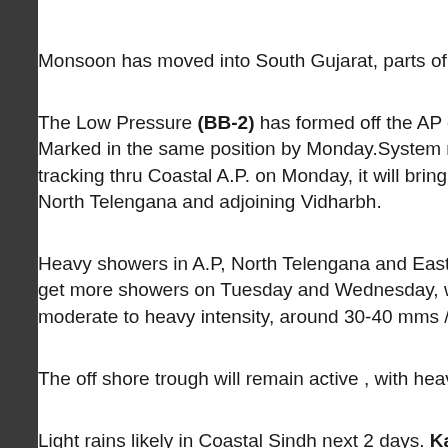Monsoon has moved into South Gujarat, parts of Sa…
The Low Pressure (BB-2) has formed off the AP coa… Marked in the same position by Monday.System may… tracking thru Coastal A.P. on Monday, it will bring hea… North Telengana and adjoining Vidharbh.
Heavy showers in A.P, North Telengana and Eastern… get more showers on Tuesday and Wednesday, whi… moderate to heavy intensity, around 30-40 mms /day…
The off shore trough will remain active , with heavy r…
Light rains likely in Coastal Sindh next 2 days. Karac… Monday/Tuesday.Strong Southerly winds.
Estimate of further advance of Monsoon into Delhi M…